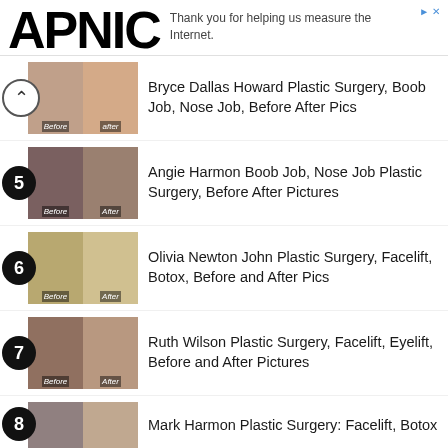APNIC — Thank you for helping us measure the Internet.
Bryce Dallas Howard Plastic Surgery, Boob Job, Nose Job, Before After Pics
5 Angie Harmon Boob Job, Nose Job Plastic Surgery, Before After Pictures
6 Olivia Newton John Plastic Surgery, Facelift, Botox, Before and After Pics
7 Ruth Wilson Plastic Surgery, Facelift, Eyelift, Before and After Pictures
8 Mark Harmon Plastic Surgery: Facelift, Botox